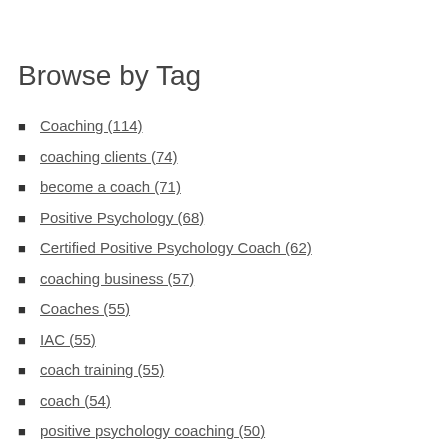Browse by Tag
Coaching (114)
coaching clients (74)
become a coach (71)
Positive Psychology (68)
Certified Positive Psychology Coach (62)
coaching business (57)
Coaches (55)
IAC (55)
coach training (55)
coach (54)
positive psychology coaching (50)